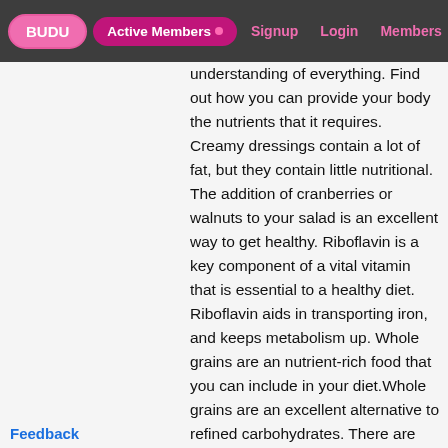BUDU | Active Members • | Signup | Login | Members | Dating
understanding of everything. Find out how you can provide your body the nutrients that it requires. Creamy dressings contain a lot of fat, but they contain little nutritional. The addition of cranberries or walnuts to your salad is an excellent way to get healthy. Riboflavin is a key component of a vital vitamin that is essential to a healthy diet. Riboflavin aids in transporting iron, and keeps metabolism up. Whole grains are an nutrient-rich food that you can include in your diet.Whole grains are an excellent alternative to refined carbohydrates. There are many options available to you, including whole wheat pasta and whole wheat pasta and, in particular, whole wheat bread, which you can incorporate into your balanced and healthy diet. This will allow your body to enough nutrients and also those in refined carbohydrates don't have. When you plan a meal that is with enough nutrients and calories, make sure to include at minimum eight ounces of lean daily meats. This will help you meet your requirements for protein and iron. There are many options for bison, bison, as
Feedback